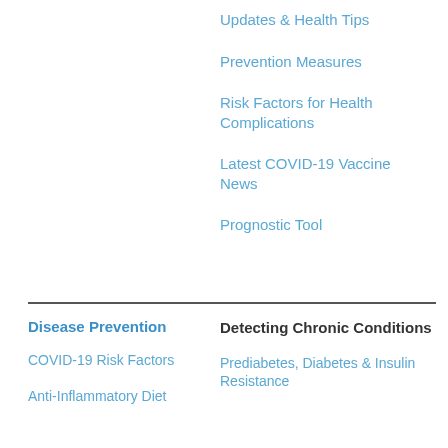Updates & Health Tips
Prevention Measures
Risk Factors for Health Complications
Latest COVID-19 Vaccine News
Prognostic Tool
Disease Prevention
Detecting Chronic Conditions
COVID-19 Risk Factors
Anti-Inflammatory Diet
Prediabetes, Diabetes & Insulin Resistance